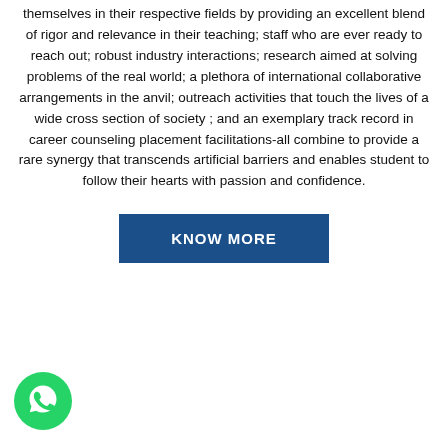themselves in their respective fields by providing an excellent blend of rigor and relevance in their teaching; staff who are ever ready to reach out; robust industry interactions; research aimed at solving problems of the real world; a plethora of international collaborative arrangements in the anvil; outreach activities that touch the lives of a wide cross section of society ; and an exemplary track record in career counseling placement facilitations-all combine to provide a rare synergy that transcends artificial barriers and enables student to follow their hearts with passion and confidence.
KNOW MORE
[Figure (logo): WhatsApp green circle logo icon in bottom left corner]